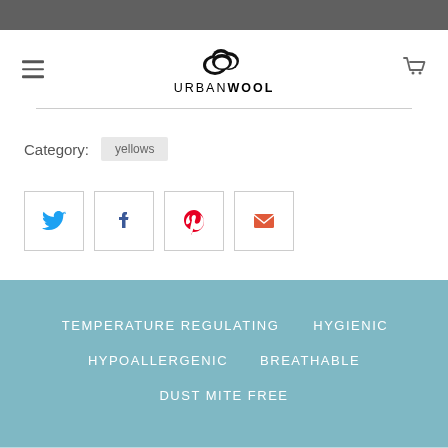URBANWOOL
Category: yellows
[Figure (screenshot): Social share buttons: Twitter, Facebook, Pinterest, Email]
TEMPERATURE REGULATING   HYGIENIC   HYPOALLERGENIC   BREATHABLE   DUST MITE FREE